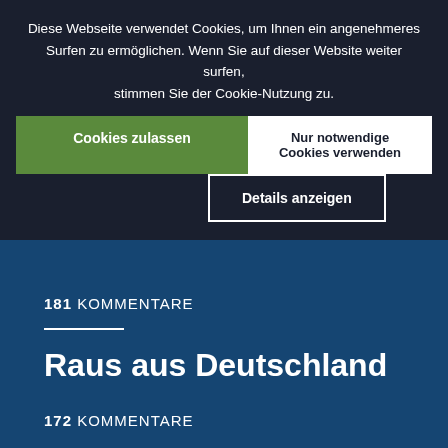Diese Webseite verwendet Cookies, um Ihnen ein angenehmeres Surfen zu ermöglichen. Wenn Sie auf dieser Website weiter surfen, stimmen Sie der Cookie-Nutzung zu.
Cookies zulassen
Nur notwendige Cookies verwenden
Details anzeigen
208 KOMMENTARE
181 KOMMENTARE
Raus aus Deutschland
172 KOMMENTARE